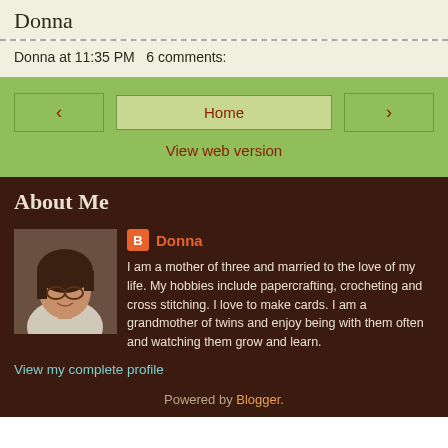Donna
Donna at 11:35 PM    6 comments:
◂  Home  ▸  View web version
About Me
Donna
I am a mother of three and married to the love of my life. My hobbies include papercrafting, crocheting and cross stitching. I love to make cards. I am a grandmother of twins and enjoy being with them often and watching them grow and learn.
View my complete profile
Powered by Blogger.